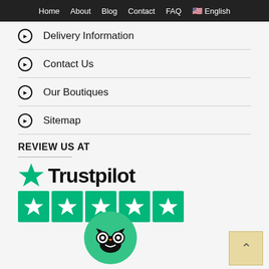Home   About   Blog   Contact   FAQ   🇺🇸 English
Delivery Information
Contact Us
Our Boutiques
Sitemap
REVIEW US AT
[Figure (logo): Trustpilot logo with green star and five green star rating boxes]
[Figure (logo): TripAdvisor green owl logo circle]